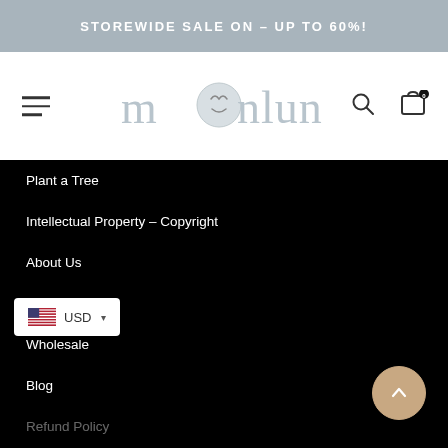STOREWIDE SALE ON – UP TO 60%!
[Figure (logo): Moonlun brand logo with stylized moon face graphic in grey script lettering]
Plant a Tree
Intellectual Property – Copyright
About Us
Contact Us
Wholesale
Blog
Refund Policy
Terms & Conditions